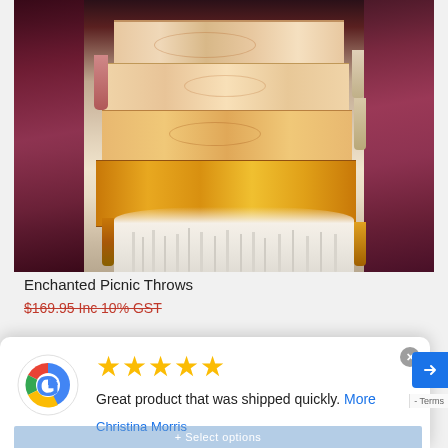[Figure (photo): Person in white dress holding a stack of folded floral throw blankets with tassels, in front of pink flowering bushes. The throws have orange, yellow, and cream floral patterns.]
Enchanted Picnic Throws
$169.95 Inc 10% GST
[Figure (logo): Google G logo multicolor]
★★★★★ Great product that was shipped quickly. More
Christina Morris